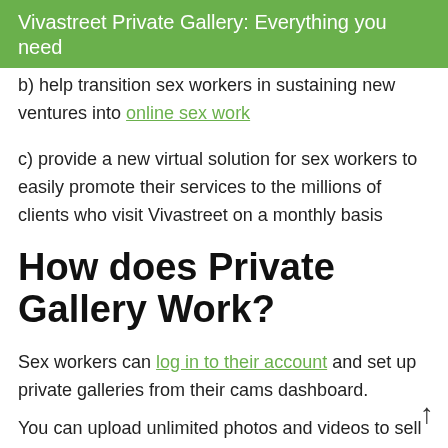Vivastreet Private Gallery: Everything you need
b) help transition sex workers in sustaining new ventures into online sex work
c) provide a new virtual solution for sex workers to easily promote their services to the millions of clients who visit Vivastreet on a monthly basis
How does Private Gallery Work?
Sex workers can log in to their account and set up private galleries from their cams dashboard.
You can upload unlimited photos and videos to sell on